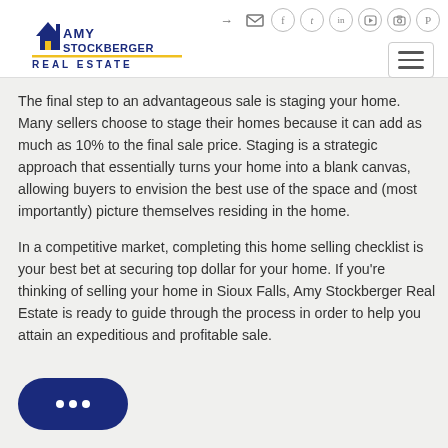Amy Stockberger Real Estate — navigation header with logo and social icons
The final step to an advantageous sale is staging your home. Many sellers choose to stage their homes because it can add as much as 10% to the final sale price. Staging is a strategic approach that essentially turns your home into a blank canvas, allowing buyers to envision the best use of the space and (most importantly) picture themselves residing in the home.
In a competitive market, completing this home selling checklist is your best bet at securing top dollar for your home. If you're thinking of selling your home in Sioux Falls, Amy Stockberger Real Estate is ready to guide through the process in order to help you attain an expeditious and profitable sale.